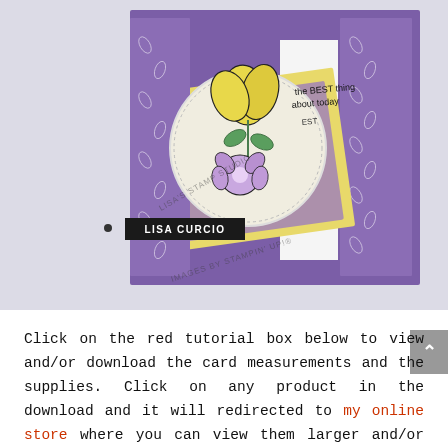[Figure (photo): A handmade greeting card with purple and yellow floral design, featuring a circular stamped panel with yellow and purple flowers, diamond-shaped patterned paper layers, and text 'the BEST thing about today'. Watermarks read 'LISA'S STAMP STUDIO' and 'IMAGES BY STAMPIN' UP!'. A black label reads 'LISA CURCIO'.]
Click on the red tutorial box below to view and/or download the card measurements and the supplies. Click on any product in the download and it will redirected to my online store where you can view them larger and/or add them to your cart. I offer exclusive and